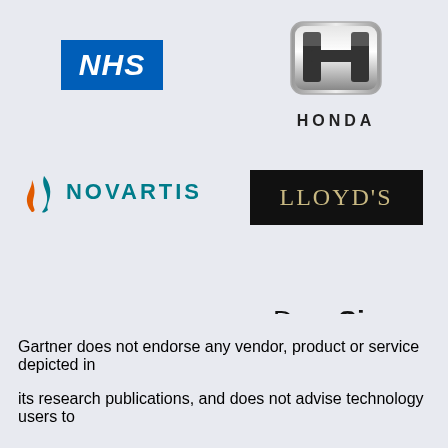[Figure (logo): NHS logo — white italic bold text on blue background]
[Figure (logo): Honda logo — chrome H emblem with HONDA text below]
[Figure (logo): Novartis logo — flame icon in orange and teal with NOVARTIS text in teal]
[Figure (logo): Lloyd's logo — gold serif text on black rectangle]
[Figure (logo): Samsung logo — bold dark blue uppercase text]
[Figure (logo): DocuSign logo — mixed weight black text]
Gartner does not endorse any vendor, product or service depicted in its research publications, and does not advise technology users to